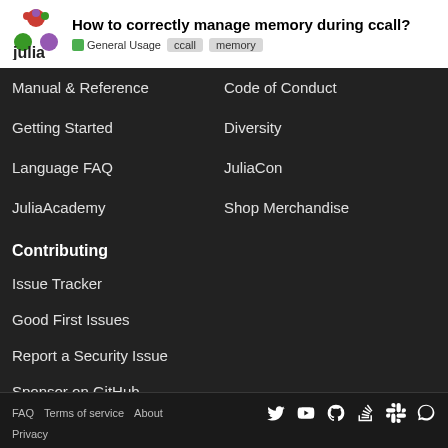How to correctly manage memory during ccall? General Usage ccall memory
Manual & Reference
Code of Conduct
Getting Started
Diversity
Language FAQ
JuliaCon
JuliaAcademy
Shop Merchandise
Contributing
Issue Tracker
Good First Issues
Report a Security Issue
Sponsor on GitHub
FAQ  Terms of service  About  Privacy